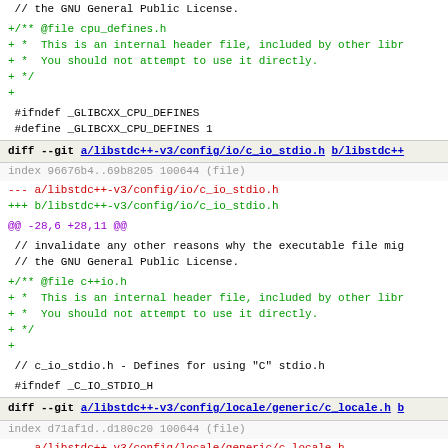// the GNU General Public License.
+/** @file cpu_defines.h
+ *  This is an internal header file, included by other libr
+ *  You should not attempt to use it directly.
+ */
+
#ifndef _GLIBCXX_CPU_DEFINES
 #define _GLIBCXX_CPU_DEFINES 1
diff --git a/libstdc++-v3/config/io/c_io_stdio.h b/libstdc++
index 96676b4..69b8205 100644 (file)
--- a/libstdc++-v3/config/io/c_io_stdio.h
+++ b/libstdc++-v3/config/io/c_io_stdio.h
@@ -28,6 +28,11 @@
// invalidate any other reasons why the executable file mig
 // the GNU General Public License.
+/** @file c++io.h
+ *  This is an internal header file, included by other libr
+ *  You should not attempt to use it directly.
+ */
+
// c_io_stdio.h - Defines for using "C" stdio.h
#ifndef _C_IO_STDIO_H
diff --git a/libstdc++-v3/config/locale/generic/c_locale.h b
index d71af1d..d180c20 100644 (file)
--- a/libstdc++-v3/config/locale/generic/c_locale.h
+++ b/libstdc++-v3/config/locale/generic/c_locale.h